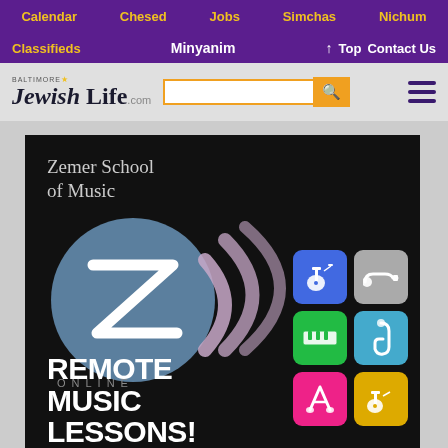Calendar | Chesed | Jobs | Simchas | Nichum
Classifieds | Minyanim | ↑ Top | Contact Us
[Figure (logo): Baltimore Jewish Life .com logo with search bar and hamburger menu]
[Figure (illustration): Zemer School of Music Online advertisement showing logo, wifi arcs, instrument icons (guitar, trumpet, keyboard, saxophone, violin, guitar), and text REMOTE MUSIC LESSONS!]